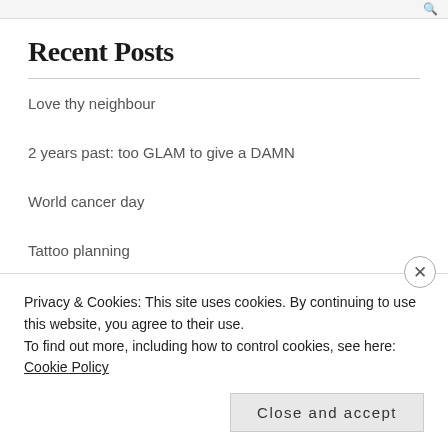Recent Posts
Love thy neighbour
2 years past: too GLAM to give a DAMN
World cancer day
Tattoo planning
(no title)
Recent Comments
[Figure (other): User avatar / gravatar image — green pixelated icon]
Privacy & Cookies: This site uses cookies. By continuing to use this website, you agree to their use.
To find out more, including how to control cookies, see here: Cookie Policy
Close and accept